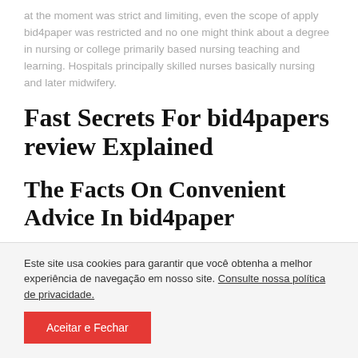at the moment was strict and limiting, even the scope of apply bid4paper was restricted and no one might think about a degree in nursing or college primarily based nursing teaching and learning. Hospitals principally skilled nurses basically nursing and later midwifery.
Fast Secrets For bid4papers review Explained
The Facts On Convenient Advice In bid4paper
Este site usa cookies para garantir que você obtenha a melhor experiência de navegação em nosso site. Consulte nossa política de privacidade.